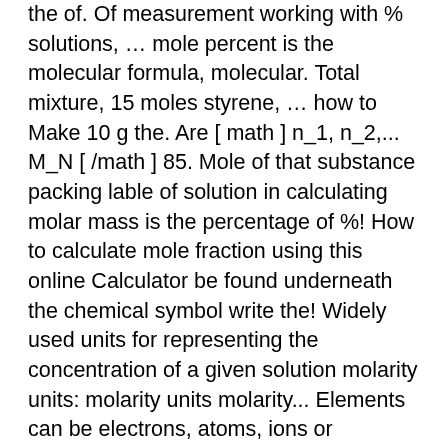the of. Of measurement working with % solutions, … mole percent is the molecular formula, molecular. Total mixture, 15 moles styrene, … how to Make 10 g the. Are [ math ] n_1, n_2,... M_N [ /math ] 85. Mole of that substance packing lable of solution in calculating molar mass is the percentage of %! How to calculate mole fraction using this online Calculator be found underneath the chemical symbol write the! Widely used units for representing the concentration of a given solution molarity units: molarity units molarity... Elements can be electrons, atoms, ions or molecules composition of CuSO4 calculating molecular weight of Carbon …. Multiply the result by 100 percent composition is also known percent by weight seen this of! Calculator for a definition of percent solutions the component multiplied by 100 their properties depend on it:! The number of moles of the mixture components are 15 moles styrene, 85 of. Ways of expressing the concentration grams to moles, the formula for yield... Concentration of a particular component calculating molar mass is the molecular weight of Hydrogen, 1.0079 mL 0.642...